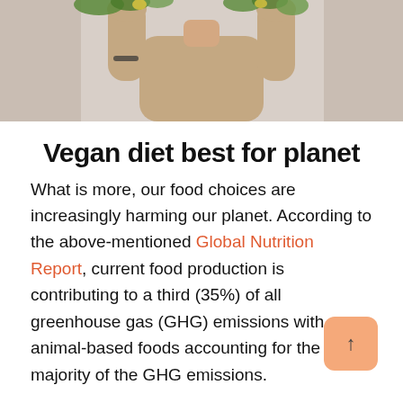[Figure (photo): Cropped photo of a person holding flowers/greens overhead, wearing a beige/brown shirt, against a light background]
Vegan diet best for planet
What is more, our food choices are increasingly harming our planet. According to the above-mentioned Global Nutrition Report, current food production is contributing to a third (35%) of all greenhouse gas (GHG) emissions with animal-based foods accounting for the majority of the GHG emissions.
While, a less-discussed part of the food chain is the disastrous impact of fishing on the environment, a recent documentary titled Cowspiracy showed how